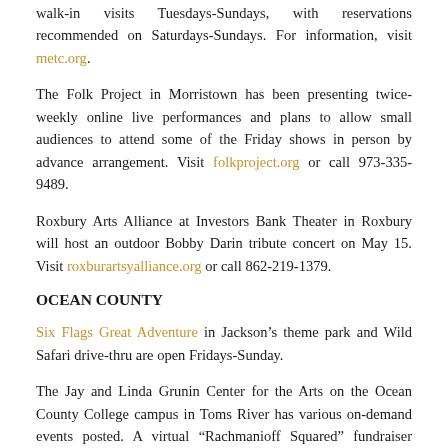walk-in visits Tuesdays-Sundays, with reservations recommended on Saturdays-Sundays. For information, visit metc.org.
The Folk Project in Morristown has been presenting twice-weekly online live performances and plans to allow small audiences to attend some of the Friday shows in person by advance arrangement. Visit folkproject.org or call 973-335-9489.
Roxbury Arts Alliance at Investors Bank Theater in Roxbury will host an outdoor Bobby Darin tribute concert on May 15. Visit roxburartsyalliance.org or call 862-219-1379.
OCEAN COUNTY
Six Flags Great Adventure in Jackson's theme park and Wild Safari drive-thru are open Fridays-Sunday.
The Jay and Linda Grunin Center for the Arts on the Ocean County College campus in Toms River has various on-demand events posted. A virtual “Rachmanioff Squared” fundraiser recital is planned for May 7. Visit gruningcenter.org/events or call 732-255-0500.